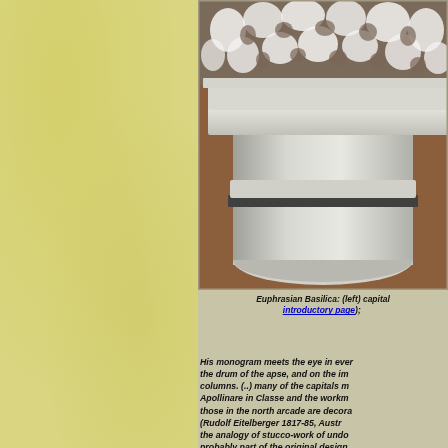[Figure (photo): Close-up photograph of an ornate white stone column capital from the Euphrasian Basilica, showing intricate carved foliage/lacework decoration at the top and a cylindrical drum below, set against a reddish-brown background.]
Euphrasian Basilica: (left) capital ... introductory page); ...
His monogram meets the eye in ever... the drum of the apse, and on the im... columns. (..) many of the capitals m... Apollinare in Classe and the workm... those in the north arcade are decora... (Rudolf Eitelberger 1817-85, Austr... the analogy of stucco-work of undo... probably part of the original design.